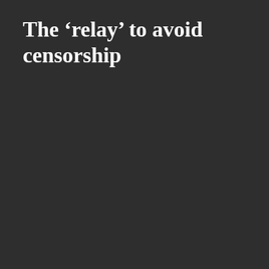The ‘relay’ to avoid censorship